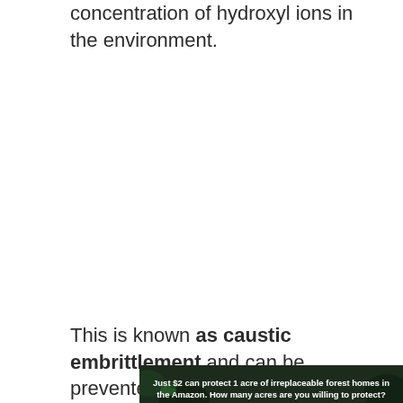concentration of hydroxyl ions in the environment.
This is known as caustic embrittlement and can be prevented by annealing the plates at
[Figure (other): Advertisement banner: forest/Amazon conservation ad. Text reads 'Just $2 can protect 1 acre of irreplaceable forest homes in the Amazon. How many acres are you willing to protect?' with a green 'PROTECT FORESTS NOW' button.]